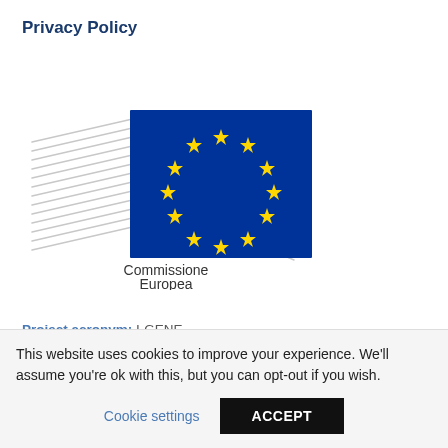Privacy Policy
[Figure (logo): European Commission logo with EU flag (blue rectangle with 12 yellow stars in a circle) and decorative grey diagonal lines on left and right sides, with text 'Commissione Europea' below and a blue underline]
Project acronym: I-GENE
Project full title: In-vivo Gene Editing by NanotransducErs
Grant agreement ID: 862714
Instrument Type: FET-OPEN
This website uses cookies to improve your experience. We'll assume you're ok with this, but you can opt-out if you wish.
Cookie settings
ACCEPT